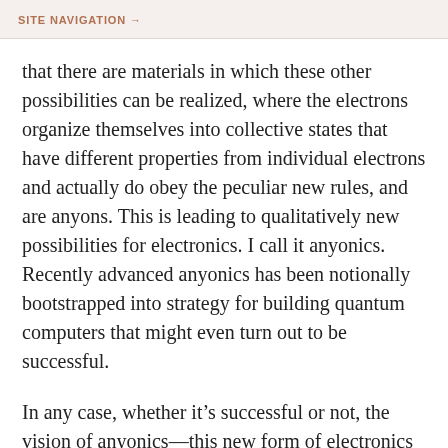SITE NAVIGATION →
that there are materials in which these other possibilities can be realized, where the electrons organize themselves into collective states that have different properties from individual electrons and actually do obey the peculiar new rules, and are anyons. This is leading to qualitatively new possibilities for electronics. I call it anyonics. Recently advanced anyonics has been notionally bootstrapped into strategy for building quantum computers that might even turn out to be successful.
In any case, whether it's successful or not, the vision of anyonics—this new form of electronics—has inspired a lot of funding and experimentalists are getting into the game. Here similarly, there are kinds of experiments that